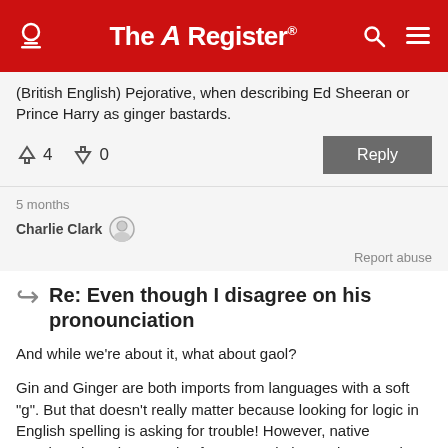The Register
(British English) Pejorative, when describing Ed Sheeran or Prince Harry as ginger bastards.
↑4  ↓0   Reply
5 months
Charlie Clark
Report abuse
Re: Even though I disagree on his pronounciation
And while we're about it, what about gaol?
Gin and Ginger are both imports from languages with a soft "g". But that doesn't really matter because looking for logic in English spelling is asking for trouble! However, native speakers have innate rules for pronunciation and I remember assuming it would be a hard G when I first